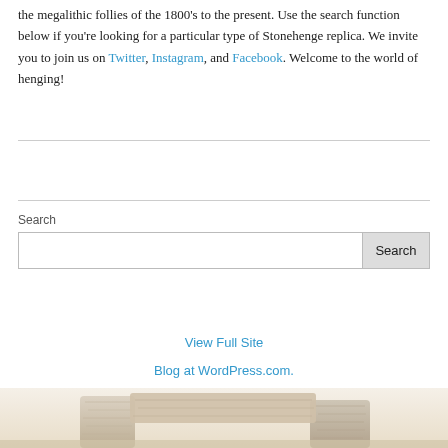the megalithic follies of the 1800's to the present. Use the search function below if you're looking for a particular type of Stonehenge replica. We invite you to join us on Twitter, Instagram, and Facebook. Welcome to the world of henging!
Search
View Full Site
Blog at WordPress.com.
[Figure (photo): Partial view of a Stonehenge replica, showing textured stone blocks in a sandy/cream color, cropped at the bottom of the page.]